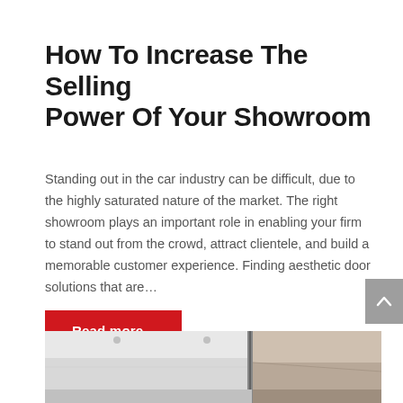How To Increase The Selling Power Of Your Showroom
Standing out in the car industry can be difficult, due to the highly saturated nature of the market. The right showroom plays an important role in enabling your firm to stand out from the crowd, attract clientele, and build a memorable customer experience. Finding aesthetic door solutions that are…
Read more…
[Figure (photo): Interior photo of a showroom with white walls, ceiling lights, and a glass partition.]